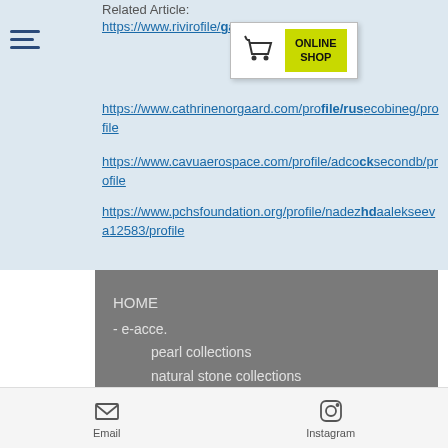Related Article:
https://www.rivir...ofile/gayeskieserd/profile
[Figure (infographic): Online Shop popup with shopping cart icon and yellow-green ONLINE SHOP button]
https://www.cathrinenorgaard.com/profile/rusecobineg/profile
https://www.cavuaerospace.com/profile/adcocksecondb/profile
https://www.pchsfoundation.org/profile/nadezhdaalekseeva12583/profile
HOME
- e-acce.
pearl collections
natural stone collections
souen83
instagram
-upcycled bag ALISSON
instagram
Email   Instagram